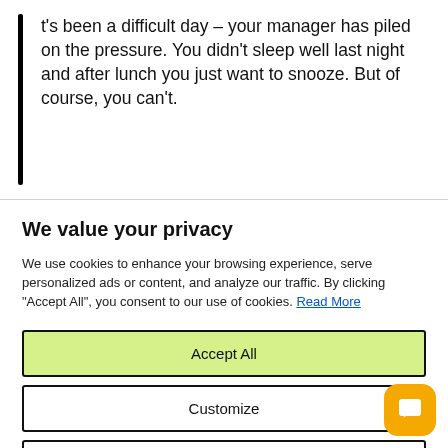t's been a difficult day – your manager has piled on the pressure. You didn't sleep well last night and after lunch you just want to snooze. But of course, you can't.
We value your privacy
We use cookies to enhance your browsing experience, serve personalized ads or content, and analyze our traffic. By clicking "Accept All", you consent to our use of cookies. Read More
Accept All
Customize
Reject All